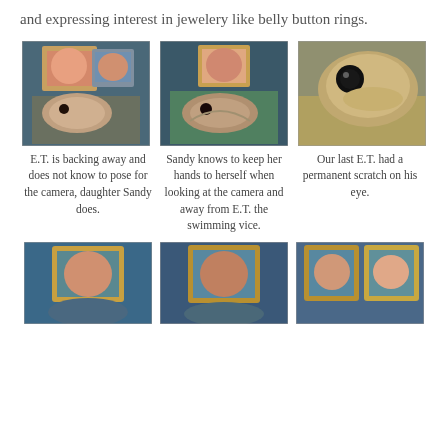and expressing interest in jewelery like belly button rings.
[Figure (photo): Two people with framed faces holding a pufferfish underwater]
[Figure (photo): Person with framed face underwater near a pufferfish swimming]
[Figure (photo): Close-up of a pufferfish eye near sandy bottom]
E.T. is backing away and does not know to pose for the camera, daughter Sandy does.
Sandy knows to keep her hands to herself when looking at the camera and away from E.T. the swimming vice.
Our last E.T. had a permanent scratch on his eye.
[Figure (photo): Underwater photo of person with golden helmet frame smiling]
[Figure (photo): Underwater photo of man with golden helmet frame smiling]
[Figure (photo): Underwater photo of two people with golden helmet frames]